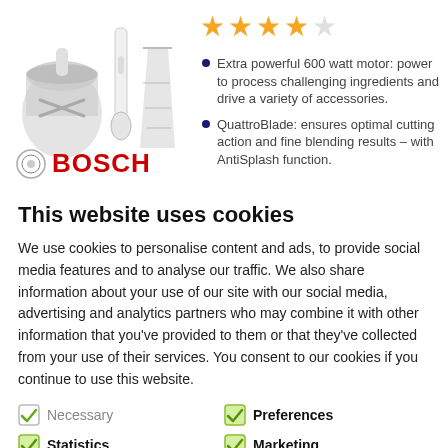[Figure (photo): Product image of a Bosch hand blender with accessories including a chopper bowl and measuring cup, shown from front view on white background. Four and a half gold stars rating shown above.]
Extra powerful 600 watt motor: power to process challenging ingredients and drive a variety of accessories.
QuattroBlade: ensures optimal cutting action and fine blending results – with AntiSplash function.
[Figure (logo): Bosch logo: circular silver emblem with BOSCH text in bold red capital letters]
This website uses cookies
We use cookies to personalise content and ads, to provide social media features and to analyse our traffic. We also share information about your use of our site with our social media, advertising and analytics partners who may combine it with other information that you've provided to them or that they've collected from your use of their services. You consent to our cookies if you continue to use this website.
Necessary
Preferences
Statistics
Marketing